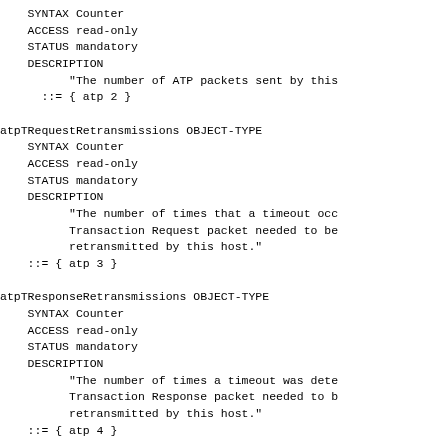SYNTAX Counter
    ACCESS read-only
    STATUS mandatory
    DESCRIPTION
          "The number of ATP packets sent by this
      ::= { atp 2 }

atpTRequestRetransmissions OBJECT-TYPE
    SYNTAX Counter
    ACCESS read-only
    STATUS mandatory
    DESCRIPTION
          "The number of times that a timeout occ
          Transaction Request packet needed to be
          retransmitted by this host."
    ::= { atp 3 }

atpTResponseRetransmissions OBJECT-TYPE
    SYNTAX Counter
    ACCESS read-only
    STATUS mandatory
    DESCRIPTION
          "The number of times a timeout was dete
          Transaction Response packet needed to b
          retransmitted by this host."
    ::= { atp 4 }

atpReleaseTimerExpiredCounts OBJECT-TYPE
    SYNTAX Counter
    ACCESS read-only
    STATUS mandatory